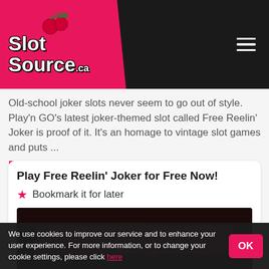[Figure (logo): Slot Source .ca logo with cherry graphic on pink/crimson background, with hamburger menu icon on dark right side]
Old-school joker slots never seem to go out of style. Play'n GO's latest joker-themed slot called Free Reelin' Joker is proof of it. It's an homage to vintage slot games and puts ...
Read Full Review
Play Free Reelin' Joker for Free Now!
★ Bookmark it for later
[Figure (screenshot): Free Reelin' Joker slot game title screen with dark background and green lettering, red/pink band across middle]
We use cookies to improve our service and to enhance your user experience. For more information, or to change your cookie settings, please click here